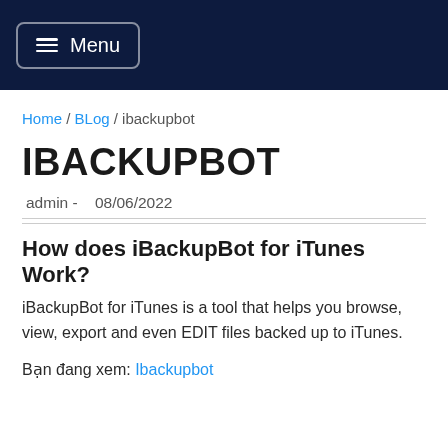Menu
Home / BLog / ibackupbot
IBACKUPBOT
admin -   08/06/2022
How does iBackupBot for iTunes Work?
iBackupBot for iTunes is a tool that helps you browse, view, export and even EDIT files backed up to iTunes.
Bạn đang xem: Ibackupbot